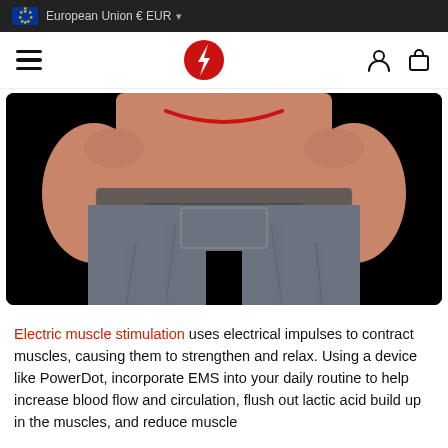European Union € EUR
[Figure (screenshot): Navigation bar with hamburger menu, red lightning bolt logo, user and cart icons]
[Figure (photo): Person viewed from behind wearing grey shorts against a black background, with red cord/cable around their neck]
Electric muscle stimulation uses electrical impulses to contract muscles, causing them to strengthen and relax. Using a device like PowerDot, incorporate EMS into your daily routine to help increase blood flow and circulation, flush out lactic acid build up in the muscles, and reduce muscle